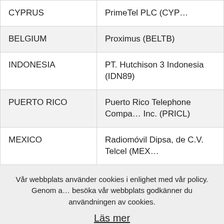| Country | Operator |
| --- | --- |
| CYPRUS | PrimeTel PLC (CYP… |
| BELGIUM | Proximus (BELTB) |
| INDONESIA | PT. Hutchison 3 Indonesia (IDN89) |
| PUERTO RICO | Puerto Rico Telephone Company, Inc. (PRICL) |
| MEXICO | Radiomóvil Dipsa, de C.V. Telcel (MEX… |
Vår webbplats använder cookies i enlighet med vår policy. Genom att besöka vår webbplats godkänner du användningen av cookies.
Läs mer
Jag godkänner